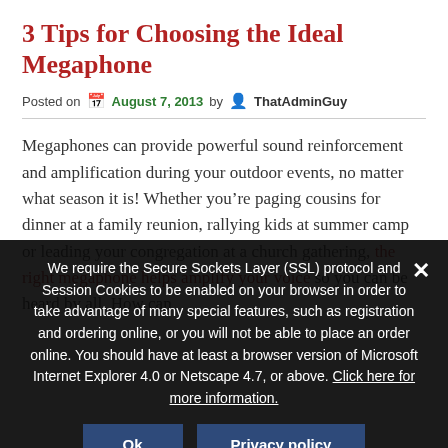3 Tips for Choosing the Ideal Megaphone
Posted on  August 7, 2013  by  ThatAdminGuy
Megaphones can provide powerful sound reinforcement and amplification during your outdoor events, no matter what season it is! Whether you’re paging cousins for dinner at a family reunion, rallying kids at summer camp or leading your congregation at a church gathering, the right megaphone helps amplify your voice so you can be heard by all. How can
We require the Secure Sockets Layer (SSL) protocol and Session Cookies to be enabled on your browser in order to take advantage of many special features, such as registration and ordering online, or you will not be able to place an order online. You should have at least a browser version of Microsoft Internet Explorer 4.0 or Netscape 4.7, or above. Click here for more information.
Ok
Privacy policy